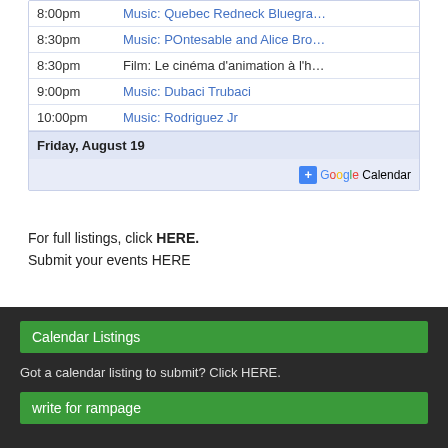| Time | Event |
| --- | --- |
| 8:00pm | Music: Quebec Redneck Bluegra… |
| 8:30pm | Music: POntesable and Alice Bro… |
| 8:30pm | Film: Le cinéma d'animation à l'h… |
| 9:00pm | Music: Dubaci Trubaci |
| 10:00pm | Music: Rodriguez Jr |
| Friday, August 19 |  |
[Figure (other): Google Calendar add button]
For full listings, click HERE.
Submit your events HERE
Calendar Listings
Got a calendar listing to submit? Click HERE.
write for rampage